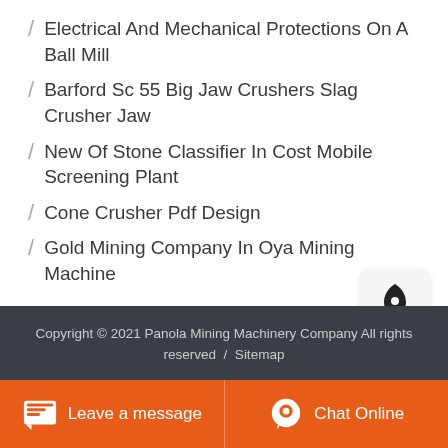/ Electrical And Mechanical Protections On A Ball Mill
/ Barford Sc 55 Big Jaw Crushers Slag Crusher Jaw
/ New Of Stone Classifier In Cost Mobile Screening Plant
/ Cone Crusher Pdf Design
/ Gold Mining Company In Oya Mining Machine
Copyright © 2021 Panola Mining Machinery Company All rights reserved / Sitemap
Leave a message
Chat Online